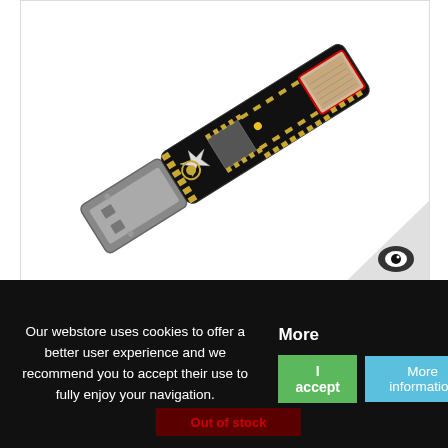[Figure (photo): LE 4.0 nRF51822 Bluetooth USB dongle/sniffer device - a small PCB with USB connector, showing the circuit board with components including an RF module with red markings]
LE 4.0 nRF51822 Bluetooth Monitoring Device (Sniffer)
159,00 lei
Our webstore uses cookies to offer a better user experience and we recommend you to accept their use to fully enjoy your navigation.
More
I accept
More information
Out of stock